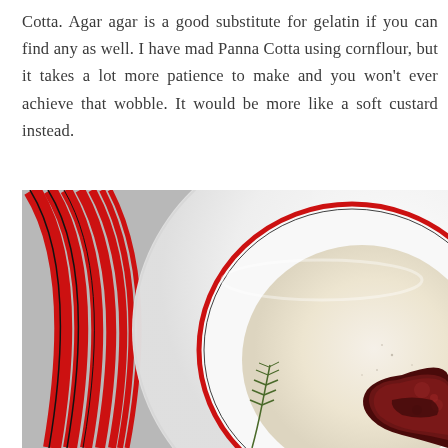Cotta. Agar agar is a good substitute for gelatin if you can find any as well. I have mad Panna Cotta using cornflour, but it takes a lot more patience to make and you won't ever achieve that wobble. It would be more like a soft custard instead.
[Figure (photo): Overhead close-up photo of a white plate with a red rim containing a pale cream-colored Panna Cotta topped with dark red berry compote, with a sprig of rosemary on the side. The plate sits on a red and silver striped surface/mat.]